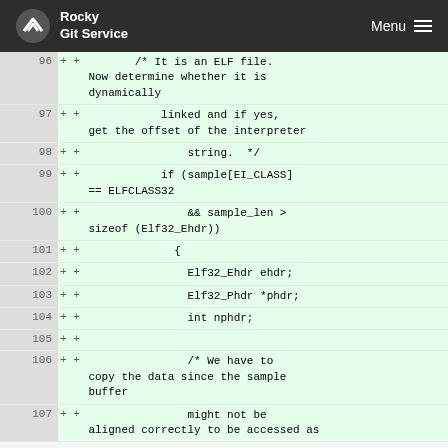Rocky Git Service  Menu
[Figure (screenshot): Git diff view showing code lines 96-107 with added lines (green background) containing C code for ELF file detection and dynamic linking check]